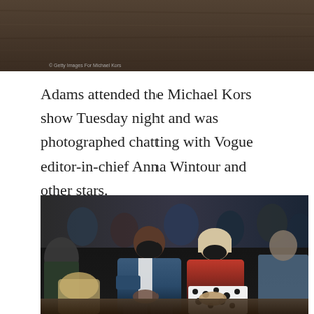[Figure (photo): Top portion of a photo taken at the Michael Kors show, showing what appears to be a table or surface with a wood grain texture background. A watermark reads '© Getty Images For Michael Kors' in the lower left.]
© Getty Images For Michael Kors
Adams attended the Michael Kors show Tuesday night and was photographed chatting with Vogue editor-in-chief Anna Wintour and other stars.
[Figure (photo): Photo taken at the Michael Kors show showing a man in a blue patterned blazer wearing a black face mask seated next to a woman in a red jacket over a black and white floral dress also wearing a black face mask, likely Anna Wintour. Other masked attendees are visible in the background.]